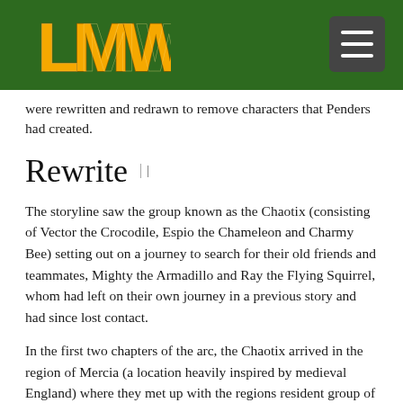LMW logo and navigation menu
were rewritten and redrawn to remove characters that Penders had created.
Rewrite
The storyline saw the group known as the Chaotix (consisting of Vector the Crocodile, Espio the Chameleon and Charmy Bee) setting out on a journey to search for their old friends and teammates, Mighty the Armadillo and Ray the Flying Squirrel, whom had left on their own journey in a previous story and had since lost contact.
In the first two chapters of the arc, the Chaotix arrived in the region of Mercia (a location heavily inspired by medieval England) where they met up with the regions resident group of Freedom Fighters,